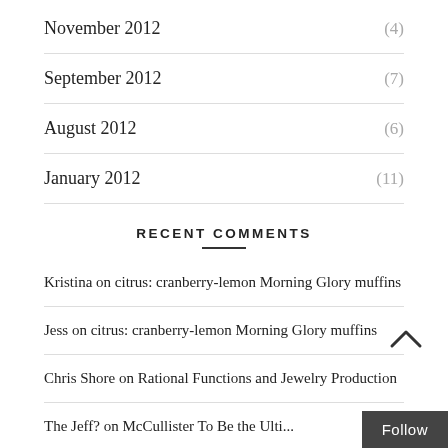November 2012 (4)
September 2012 (7)
August 2012 (6)
January 2012 (11)
RECENT COMMENTS
Kristina on citrus: cranberry-lemon Morning Glory muffins
Jess on citrus: cranberry-lemon Morning Glory muffins
Chris Shore on Rational Functions and Jewelry Production
The Jeff? on McCullister To Be the Ulti...